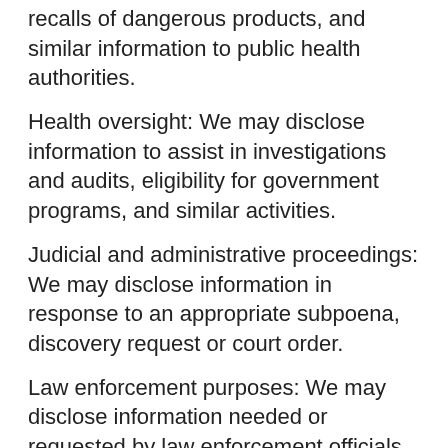recalls of dangerous products, and similar information to public health authorities.
Health oversight: We may disclose information to assist in investigations and audits, eligibility for government programs, and similar activities.
Judicial and administrative proceedings: We may disclose information in response to an appropriate subpoena, discovery request or court order.
Law enforcement purposes: We may disclose information needed or requested by law enforcement officials or to report a crime on our premises.
Deaths: We may disclose information